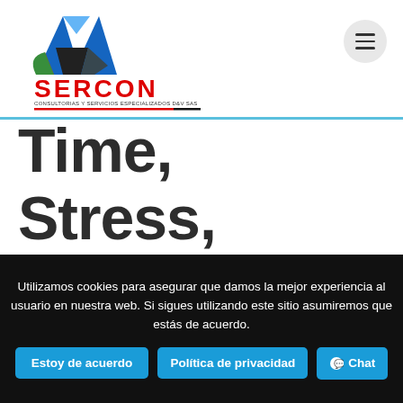[Figure (logo): SERCON logo with triangular multicolor graphic above red SERCON text and tagline 'CONSULTORIAS Y SERVICIOS ESPECIALIZADOS D&V SAS']
Time, Stress, and Money.
Utilizamos cookies para asegurar que damos la mejor experiencia al usuario en nuestra web. Si sigues utilizando este sitio asumiremos que estás de acuerdo.
Estoy de acuerdo | Política de privacidad | Chat